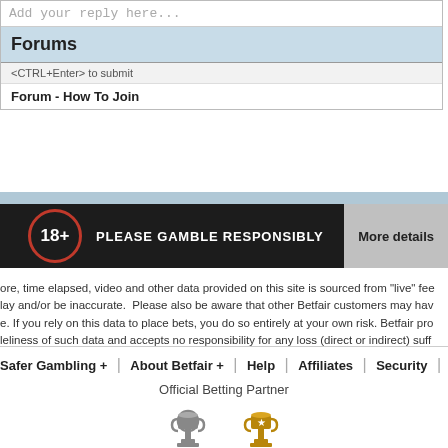Add your reply here...
Forums
<CTRL+Enter> to submit
Forum - How To Join
[Figure (infographic): 18+ Please Gamble Responsibly banner with More details button]
ore, time elapsed, video and other data provided on this site is sourced from "live" fee... lay and/or be inaccurate. Please also be aware that other Betfair customers may hav... e. If you rely on this data to place bets, you do so entirely at your own risk. Betfair pro... leliness of such data and accepts no responsibility for any loss (direct or indirect) suff...
Safer Gambling + | About Betfair + | Help | Affiliates | Security | Betfair
Official Betting Partner
[Figure (logo): Copa Sudamericana and Copa Libertadores trophy logos]